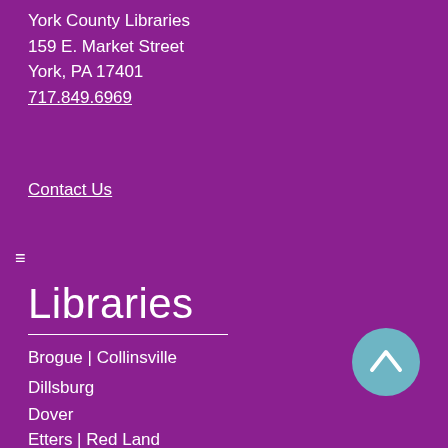York County Libraries
159 E. Market Street
York, PA 17401
717.849.6969
Contact Us
≡
Libraries
Brogue | Collinsville
Dillsburg
Dover
Etters | Red Land
Glen Rock | Hufnagel
Hanover | Guthrie
Hellam | Kreutz Creek